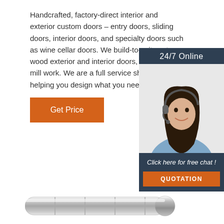Handcrafted, factory-direct interior and exterior custom doors – entry doors, sliding doors, interior doors, and specialty doors such as wine cellar doors. We build-to-suit custom wood exterior and interior doors, furniture and mill work. We are a full service shop, including helping you design what you need.
[Figure (other): Orange 'Get Price' button]
[Figure (infographic): 24/7 Online chat widget with photo of woman wearing headset, text 'Click here for free chat!' and orange QUOTATION button]
[Figure (photo): Metallic cylindrical door handle or hardware component at bottom of page]